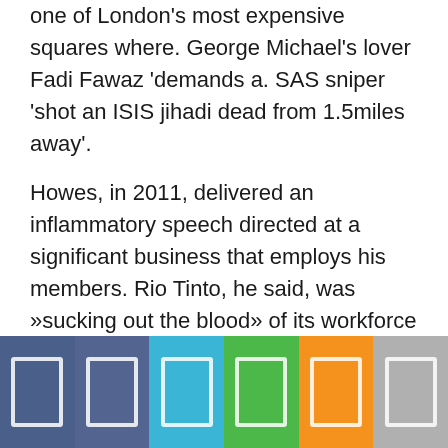one of London's most expensive squares where. George Michael's lover Fadi Fawaz 'demands a. SAS sniper 'shot an ISIS jihadi dead from 1.5miles away'.
Howes, in 2011, delivered an inflammatory speech directed at a significant business that employs his members. Rio Tinto, he said, was »sucking out the blood» of its workforce and »monkeys» could do a better job running the miner. He told Rio Tinto's bosses they »cannot hide behind your slimy, grubby mates in the Coalition because we're coming after you»..
[Figure (infographic): A footer bar divided into six colored segments (dark blue, dark blue, cyan, green, orange, gray), each containing a white outlined rectangle icon.]